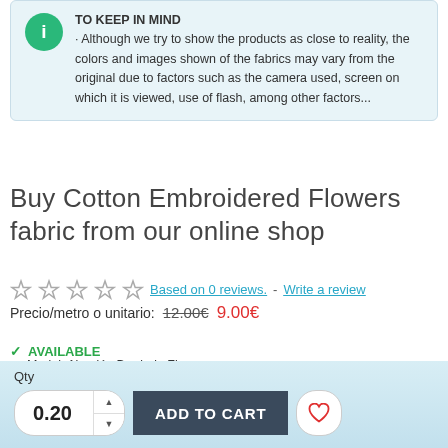TO KEEP IN MIND · Although we try to show the products as close to reality, the colors and images shown of the fabrics may vary from the original due to factors such as the camera used, screen on which it is viewed, use of flash, among other factors...
Buy Cotton Embroidered Flowers fabric from our online shop
Based on 0 reviews. - Write a review
Precio/metro o unitario: 12.00€ 9.00€
AVAILABLE
Model: Algodón Bordado Flores
Fabric width: 135cm